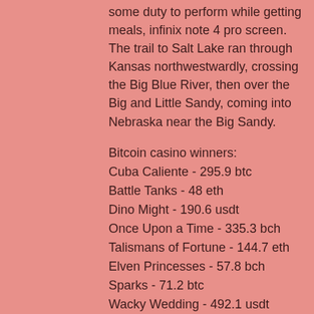some duty to perform while getting meals, infinix note 4 pro screen. The trail to Salt Lake ran through Kansas northwestwardly, crossing the Big Blue River, then over the Big and Little Sandy, coming into Nebraska near the Big Sandy.
Bitcoin casino winners:
Cuba Caliente - 295.9 btc
Battle Tanks - 48 eth
Dino Might - 190.6 usdt
Once Upon a Time - 335.3 bch
Talismans of Fortune - 144.7 eth
Elven Princesses - 57.8 bch
Sparks - 71.2 btc
Wacky Wedding - 492.1 usdt
Golden New World - 577.8 usdt
Cat In Vegas - 25.4 btc
Great Queen Bee - 74.1 dog
Aloha Cluster Pays - 421.8 btc
Wild Shark - 745.6 dog
Golden Girls - 634.5 dog